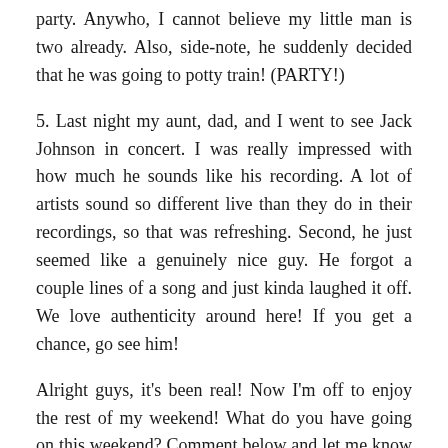party. Anywho, I cannot believe my little man is two already. Also, side-note, he suddenly decided that he was going to potty train! (PARTY!)
5. Last night my aunt, dad, and I went to see Jack Johnson in concert. I was really impressed with how much he sounds like his recording. A lot of artists sound so different live than they do in their recordings, so that was refreshing. Second, he just seemed like a genuinely nice guy. He forgot a couple lines of a song and just kinda laughed it off. We love authenticity around here! If you get a chance, go see him!
Alright guys, it's been real! Now I'm off to enjoy the rest of my weekend! What do you have going on this weekend? Comment below and let me know 🙂